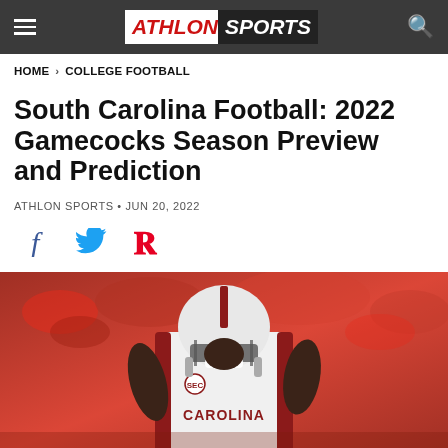ATHLON SPORTS
HOME > COLLEGE FOOTBALL
South Carolina Football: 2022 Gamecocks Season Preview and Prediction
ATHLON SPORTS • JUN 20, 2022
[Figure (infographic): Social share icons: Facebook, Twitter, Pinterest]
[Figure (photo): South Carolina Gamecocks football player wearing white CAROLINA jersey with SEC patch celebrating on field with crowd in background]